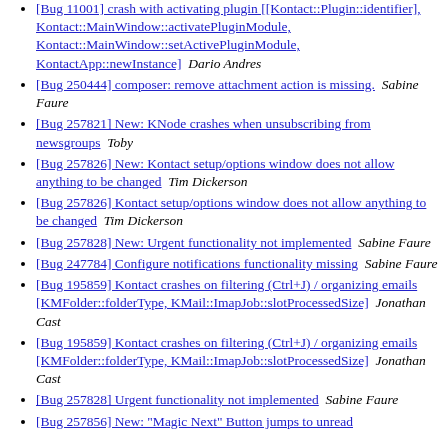[Bug 11001] crash with activating plugin [[Kontact::Plugin::identifier], Kontact::MainWindow::activatePluginModule, Kontact::MainWindow::setActivePluginModule, KontactApp::newInstance]  Dario Andres
[Bug 250444] composer: remove attachment action is missing.  Sabine Faure
[Bug 257821] New: KNode crashes when unsubscribing from newsgroups  Toby
[Bug 257826] New: Kontact setup/options window does not allow anything to be changed  Tim Dickerson
[Bug 257826] Kontact setup/options window does not allow anything to be changed  Tim Dickerson
[Bug 257828] New: Urgent functionality not implemented  Sabine Faure
[Bug 247784] Configure notifications functionality missing  Sabine Faure
[Bug 195859] Kontact crashes on filtering (Ctrl+J) / organizing emails [KMFolder::folderType, KMail::ImapJob::slotProcessedSize]  Jonathan Cast
[Bug 195859] Kontact crashes on filtering (Ctrl+J) / organizing emails [KMFolder::folderType, KMail::ImapJob::slotProcessedSize]  Jonathan Cast
[Bug 257828] Urgent functionality not implemented  Sabine Faure
[Bug 257856] New: "Magic Next" Button jumps to unread